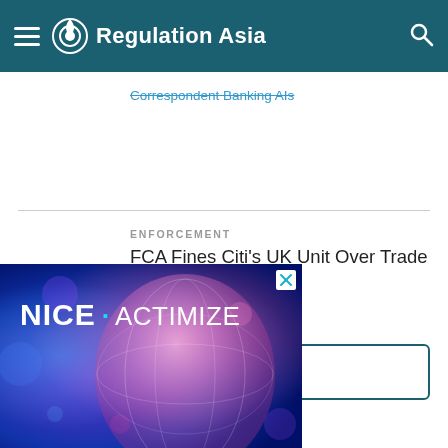Regulation Asia
Correspondent Banking AIs
ENFORCEMENT
FCA Fines Citi's UK Unit Over Trade Surveillance Issues
SEE LATEST NEWS
[Figure (illustration): NICE Actimize advertisement banner with blue and pink bokeh background and text 'NICE · ACTIMIZE']